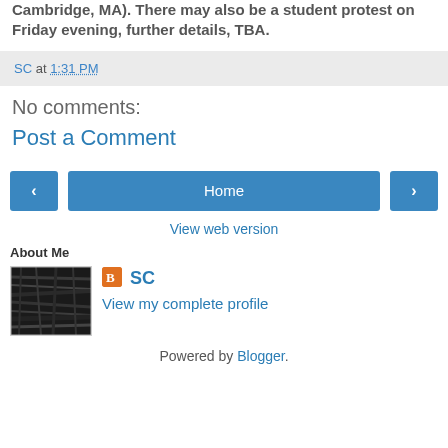Cambridge, MA). There may also be a student protest on Friday evening, further details, TBA.
SC at 1:31 PM
No comments:
Post a Comment
[Figure (other): Navigation bar with left arrow button, Home button, and right arrow button]
View web version
About Me
[Figure (photo): Profile photo - dark textured image]
SC
View my complete profile
Powered by Blogger.